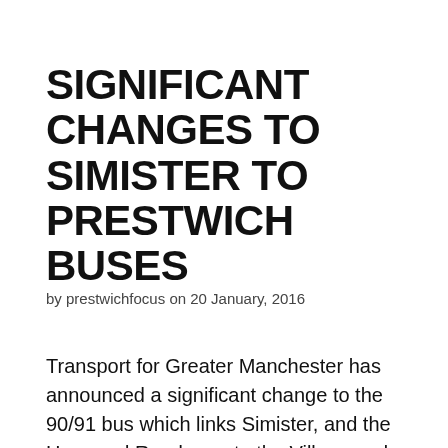SIGNIFICANT CHANGES TO SIMISTER TO PRESTWICH BUSES
by prestwichfocus on 20 January, 2016
Transport for Greater Manchester has announced a significant change to the 90/91 bus which links Simister, and the Heywood Road area to the Village and Tescos. Residents will be aware that the a new service (Simister to Bury via Radcliffe) was introduced in July 2015, but it has now been